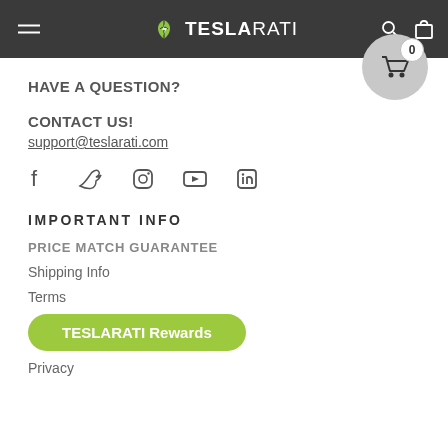TESLARATI
HAVE A QUESTION?
CONTACT US!
support@teslarati.com
[Figure (illustration): Social media icons: Facebook, Twitter, Instagram, YouTube, LinkedIn]
IMPORTANT INFO
PRICE MATCH GUARANTEE
Shipping Info
Terms
TESLARATI Rewards
Privacy